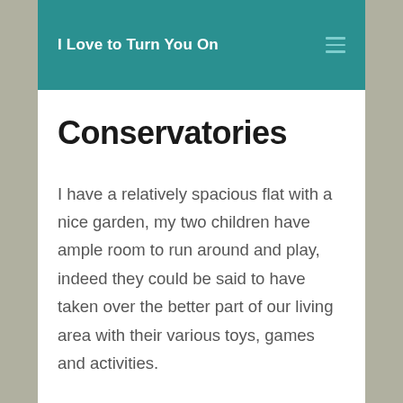I Love to Turn You On
Conservatories
I have a relatively spacious flat with a nice garden, my two children have ample room to run around and play, indeed they could be said to have taken over the better part of our living area with their various toys, games and activities.